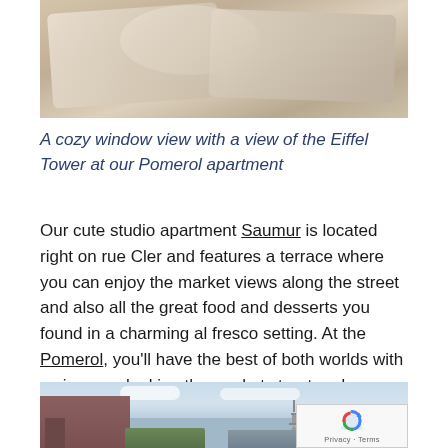[Figure (photo): Close-up photo of cozy bedding/pillows with beige and cream tones suggesting a comfortable apartment]
A cozy window view with a view of the Eiffel Tower at our Pomerol apartment
Our cute studio apartment Saumur is located right on rue Cler and features a terrace where you can enjoy the market views along the street and also all the great food and desserts you found in a charming al fresco setting. At the Pomerol, you'll have the best of both worlds with a view overlooking the market street and a glimpse of the Eiffel Tower as well!
[Figure (photo): Outdoor photo showing Paris rooftops with the Eiffel Tower visible in the background against a partly cloudy sky]